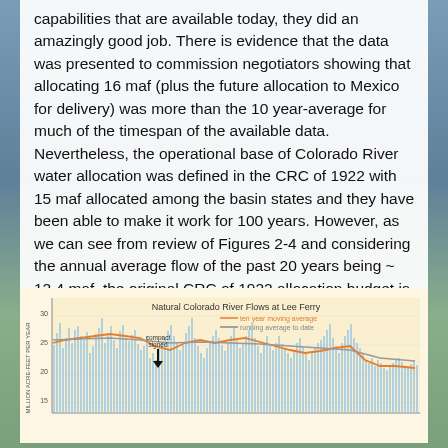capabilities that are available today, they did an amazingly good job.  There is evidence that the data was presented to commission negotiators showing that allocating 16 maf (plus the future allocation to Mexico for delivery) was more than the 10 year-average for much of the timespan of the available data.  Nevertheless, the operational base of Colorado River water allocation was defined in the CRC of 1922 with 15 maf allocated among the basin states and they have been able to make it work for 100 years.  However, as we can see from review of Figures 2-4 and considering the annual average flow of the past 20 years being ~ 12.4 maf, the original CRC of 1922 allocation budget is not sustainable.
[Figure (continuous-plot): Line chart showing natural Colorado River flows at Lee Ferry over time, with individual annual flow bars (light blue), ten year moving average (orange line), and running average to date (gray line). A 'compact signed' annotation with downward arrow marks an event around 1922. Y-axis shows millions of acre-feet per year ranging from approximately 10 to 30.]